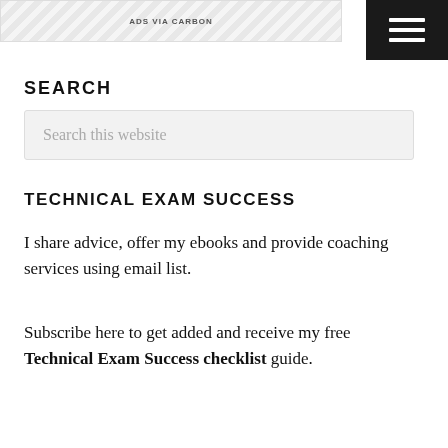[Figure (screenshot): Ad banner with diagonal stripe pattern labeled ADS VIA CARBON, with a hamburger menu icon on the right]
SEARCH
[Figure (screenshot): Search input box with placeholder text 'Search this website']
TECHNICAL EXAM SUCCESS
I share advice, offer my ebooks and provide coaching services using email list.
Subscribe here to get added and receive my free Technical Exam Success checklist guide.